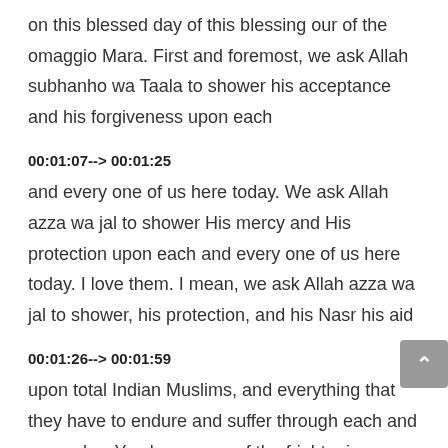on this blessed day of this blessing our of the omaggio Mara. First and foremost, we ask Allah subhanho wa Taala to shower his acceptance and his forgiveness upon each
00:01:07--> 00:01:25
and every one of us here today. We ask Allah azza wa jal to shower His mercy and His protection upon each and every one of us here today. I love them. I mean, we ask Allah azza wa jal to shower, his protection, and his Nasr his aid
00:01:26--> 00:01:59
upon total Indian Muslims, and everything that they have to endure and suffer through each and every day. You know, one of the frightening things about standing up here and speaking to an